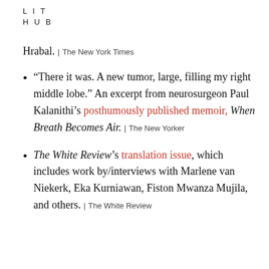LIT HUB
Hrabal. | The New York Times
“There it was. A new tumor, large, filling my right middle lobe.” An excerpt from neurosurgeon Paul Kalanithi’s posthumously published memoir, When Breath Becomes Air. | The New Yorker
The White Review’s translation issue, which includes work by/interviews with Marlene van Niekerk, Eka Kurniawan, Fiston Mwanza Mujila, and others. | The White Review